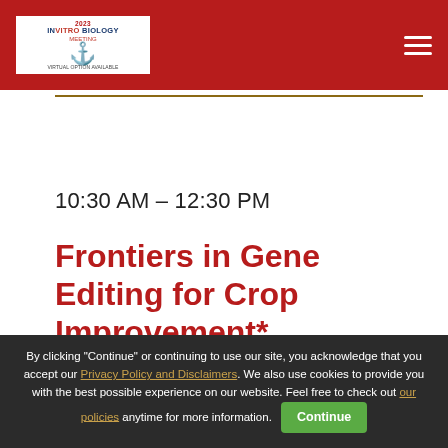[Figure (logo): In Vitro Biology meeting logo with anchor icon on white background inside red navigation bar]
10:30 AM – 12:30 PM
Frontiers in Gene Editing for Crop Improvement*
PLANT SYMPOSIUM
By clicking "Continue" or continuing to use our site, you acknowledge that you accept our Privacy Policy and Disclaimers. We also use cookies to provide you with the best possible experience on our website. Feel free to check out our policies anytime for more information.